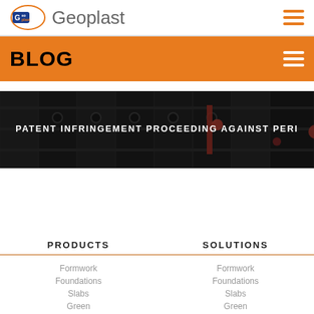Geoplast
BLOG
[Figure (photo): Dark industrial plastic formwork/construction system modules with red accent elements, background for blog post titled 'PATENT INFRINGEMENT PROCEEDING AGAINST PERI']
PATENT INFRINGEMENT PROCEEDING AGAINST PERI
PRODUCTS
SOLUTIONS
Formwork
Foundations
Slabs
Green
Formwork
Foundations
Slabs
Green